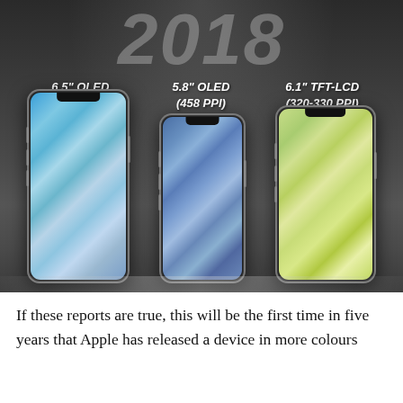[Figure (infographic): Three 2018 iPhone concepts shown side by side on dark background, with year '2018' displayed at top. Left phone: 6.5" OLED (480-500 PPI) with blue screen. Center phone: 5.8" OLED (458 PPI) with blue-purple screen. Right phone: 6.1" TFT-LCD (320-330 PPI) with green-yellow screen.]
If these reports are true, this will be the first time in five years that Apple has released a device in more colours